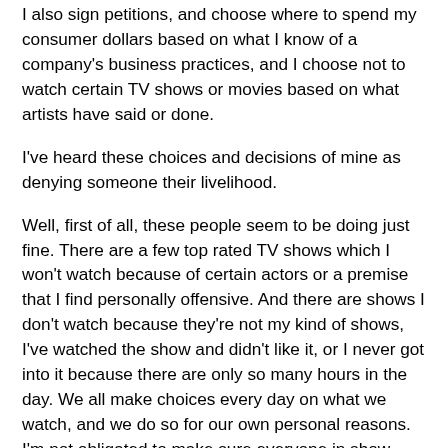I also sign petitions, and choose where to spend my consumer dollars based on what I know of a company's business practices, and I choose not to watch certain TV shows or movies based on what artists have said or done.
I've heard these choices and decisions of mine as denying someone their livelihood.
Well, first of all, these people seem to be doing just fine. There are a few top rated TV shows which I won't watch because of certain actors or a premise that I find personally offensive. And there are shows I don't watch because they're not my kind of shows, I've watched the show and didn't like it, or I never got into it because there are only so many hours in the day. We all make choices every day on what we watch, and we do so for our own personal reasons. I'm not obligated to make sure everyone in show business (or the shoe business or any other business) has a livelihood.
Also, some people watch these shows (or listen to that radio show) because they totally agree with that person. I recognize and acknowledge that not everyone shares my beliefs, at .... That thing they said didn't right into 1...